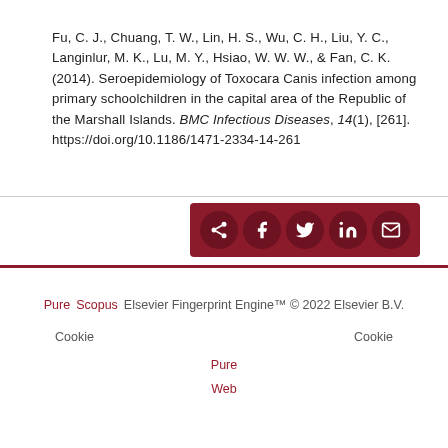Fu, C. J., Chuang, T. W., Lin, H. S., Wu, C. H., Liu, Y. C., Langinlur, M. K., Lu, M. Y., Hsiao, W. W. W., & Fan, C. K. (2014). Seroepidemiology of Toxocara Canis infection among primary schoolchildren in the capital area of the Republic of the Marshall Islands. BMC Infectious Diseases, 14(1), [261]. https://doi.org/10.1186/1471-2334-14-261
[Figure (other): Social sharing bar with icons for share, Facebook, Twitter, LinkedIn, and email on a dark red background]
Pure  Scopus    Elsevier Fingerprint Engine™ © 2022 Elsevier B.V.   Cookie   Cookie   Pure   Web